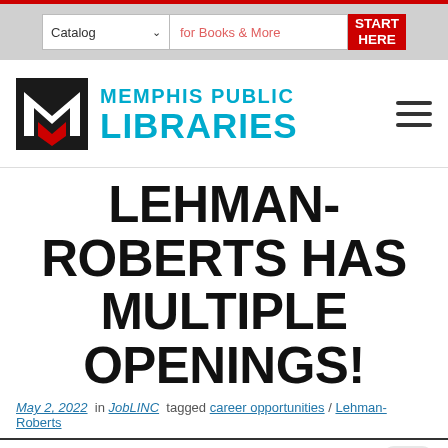[Figure (screenshot): Website header with search bar showing Catalog dropdown, 'for Books & More' input, and START HERE red button]
[Figure (logo): Memphis Public Libraries logo with black M icon and cyan text]
LEHMAN- ROBERTS HAS MULTIPLE OPENINGS!
May 2, 2022  in  JobLINC  tagged  career opportunities / Lehman-Roberts
[Figure (logo): Paving Contractor circular logo, partially visible at bottom of page, circa 1939]